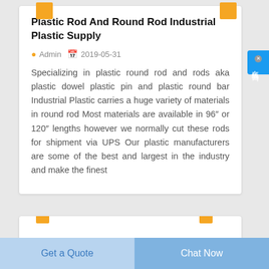Plastic Rod And Round Rod Industrial Plastic Supply
Admin  2019-05-31
Specializing in plastic round rod and rods aka plastic dowel plastic pin and plastic round bar Industrial Plastic carries a huge variety of materials in round rod Most materials are available in 96″ or 120″ lengths however we normally cut these rods for shipment via UPS Our plastic manufacturers are some of the best and largest in the industry and make the finest
Get a Quote
Chat Now